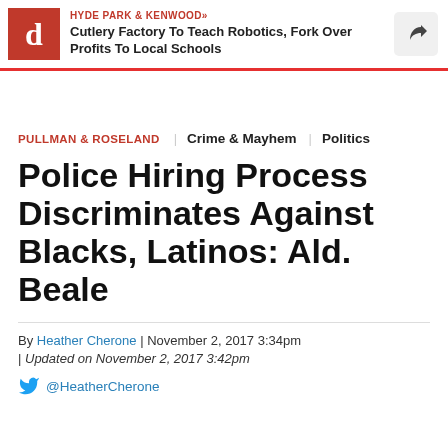HYDE PARK & KENWOOD» Cutlery Factory To Teach Robotics, Fork Over Profits To Local Schools
PULLMAN & ROSELAND  Crime & Mayhem  Politics
Police Hiring Process Discriminates Against Blacks, Latinos: Ald. Beale
By Heather Cherone | November 2, 2017 3:34pm | Updated on November 2, 2017 3:42pm @HeatherCherone